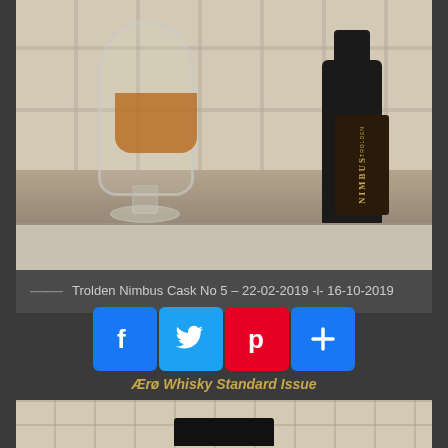[Figure (photo): Photo of a Glencairn whisky glass with amber liquid and a Trolden Nimbus bottle lying on its side on a counter with white tiles in the background]
Trolden Nimbus Cask No 5 – 22-02-2019 -l- 16-10-2019
[Figure (infographic): Social media share buttons: Facebook, Twitter, Pinterest, and a share button, with text 'Ærø Whisky Standard Issue' below]
[Figure (photo): Partial photo of a counter with white tiles and a dark object at the bottom, likely another whisky bottle]